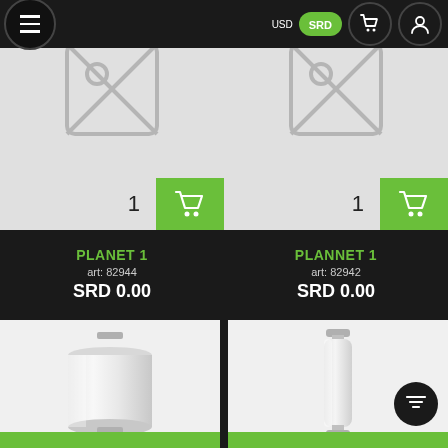USD  SRD
[Figure (photo): Product placeholder image with no-image icon and quantity 1 with green cart button]
[Figure (photo): Product placeholder image with no-image icon and quantity 1 with green cart button]
PLANET 1
art: 82944
SRD 0.00
PLANNET 1
art: 82942
SRD 0.00
[Figure (photo): White cylindrical wall lamp / sconce light fixture on light grey background]
[Figure (photo): Tall vertical white fluorescent bar light fixture on light grey background]